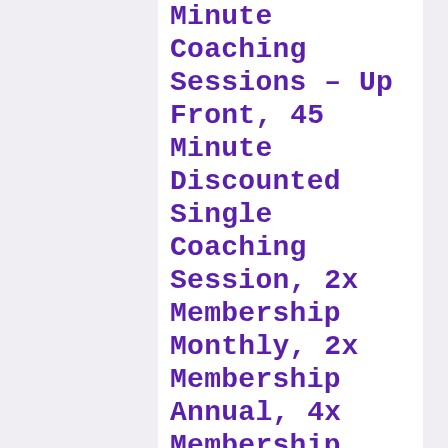Minute Coaching Sessions – Up Front, 45 Minute Discounted Single Coaching Session, 2x Membership Monthly, 2x Membership Annual, 4x Membership Monthly, 4x Membership Annual, 1x Membership Monthly, 2x Coaching Sessions, 4x Membership Annual – ALV Client Only, 2x Membership Annual – ALV Client Only, 6 Month 2x Membership